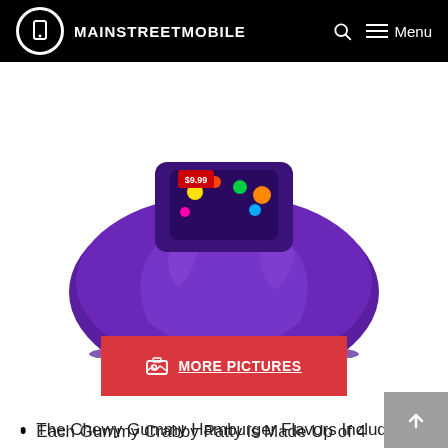MAINSTREETMOBILE
[Figure (photo): Purple bag of Chewy Gummy Hamburger candy, partially visible, showing the top portion of the package with colorful graphics.]
MORE PICTURES
The Chewy Gummy Hamburger Flavors Include: Original, Grape, Green Apple, Cherry, and Raspberry.
Each Gummy Crabby Patty is Made Up of 4 Individual Pieces of Gummy Candy - Top Bun